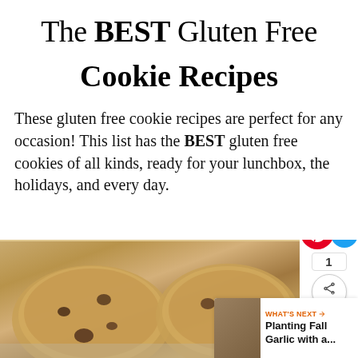The BEST Gluten Free Cookie Recipes
These gluten free cookie recipes are perfect for any occasion! This list has the BEST gluten free cookies of all kinds, ready for your lunchbox, the holidays, and every day.
[Figure (photo): Two large gluten free chocolate chip cookies on a baking mat, photographed from above, with social sharing buttons (Pinterest, heart) and a 'What's Next' overlay showing 'Planting Fall Garlic with a...']